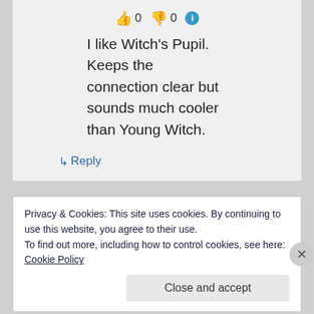👍 0 👎 0 ℹ
I like Witch's Pupil. Keeps the connection clear but sounds much cooler than Young Witch.
↳ Reply
Privacy & Cookies: This site uses cookies. By continuing to use this website, you agree to their use.
To find out more, including how to control cookies, see here: Cookie Policy
Close and accept